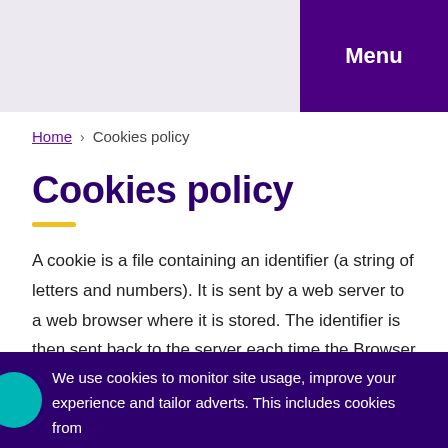Menu
Home › Cookies policy
Cookies policy
A cookie is a file containing an identifier (a string of letters and numbers). It is sent by a web server to a web browser where it is stored. The identifier is then sent back to the server each time the Browser requests a page.
We use cookies to monitor site usage, improve your experience and tailor adverts. This includes cookies from